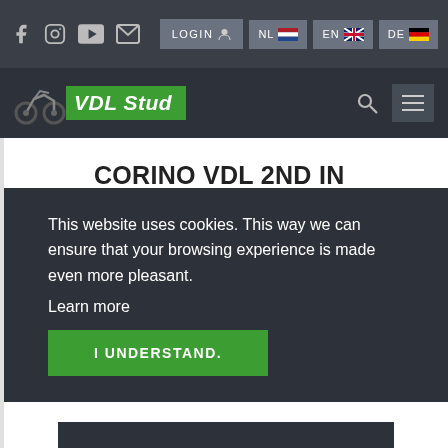VDL Stud website header with social icons (Facebook, Instagram, YouTube, Email), LOGIN button, language selectors (NL, EN, DE), logo and navigation
CORINO VDL 2ND IN STALLIONTEST DANISH WARMBLOOD STUDBOOK
This website uses cookies. This way we can ensure that your browsing experience is made even more pleasant.
Learn more
I UNDERSTAND.